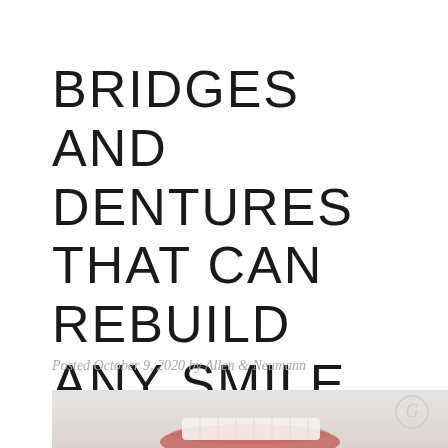BRIDGES AND DENTURES THAT CAN REBUILD ANY SMILE
Posted October 9, 2020 by Allen & Neumann
[Figure (photo): Partial photo showing a dental model or dentures against a light blurred background, with a circular logo watermark in the bottom right corner]